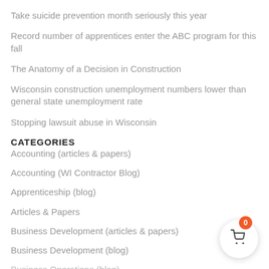Take suicide prevention month seriously this year
Record number of apprentices enter the ABC program for this fall
The Anatomy of a Decision in Construction
Wisconsin construction unemployment numbers lower than general state unemployment rate
Stopping lawsuit abuse in Wisconsin
CATEGORIES
Accounting (articles & papers)
Accounting (WI Contractor Blog)
Apprenticeship (blog)
Articles & Papers
Business Development (articles & papers)
Business Development (blog)
Business Operations (blog)